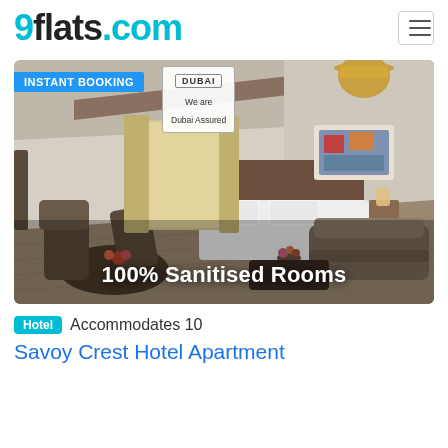9flats.com
[Figure (photo): Hotel room interior showing a large bed, sofa, dining table, modern decor, with text overlays: 'INSTANT BOOKING', 'DUBAI Assured — We are Dubai Assured', and '100% Sanitised Rooms']
Hotel  Accommodates 10
Savoy Crest Hotel Apartment